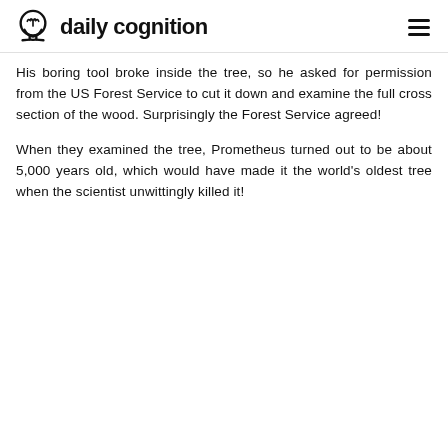daily cognition
His boring tool broke inside the tree, so he asked for permission from the US Forest Service to cut it down and examine the full cross section of the wood. Surprisingly the Forest Service agreed!
When they examined the tree, Prometheus turned out to be about 5,000 years old, which would have made it the world's oldest tree when the scientist unwittingly killed it!